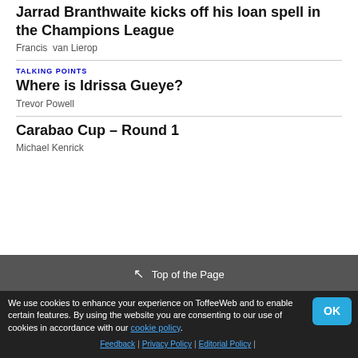Jarrad Branthwaite kicks off his loan spell in the Champions League
Francis  van Lierop
TALKING POINTS
Where is Idrissa Gueye?
Trevor Powell
Carabao Cup – Round 1
Michael Kenrick
Top of the Page
We use cookies to enhance your experience on ToffeeWeb and to enable certain features. By using the website you are consenting to our use of cookies in accordance with our cookie policy.
Feedback | Privacy Policy | Editorial Policy |